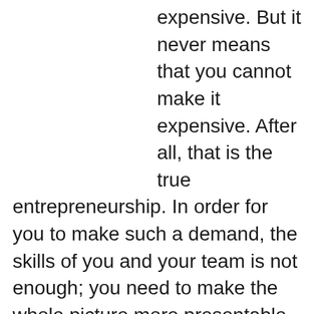expensive. But it never means that you cannot make it expensive. After all, that is the true entrepreneurship. In order for you to make such a demand, the skills of you and your team is not enough; you need to make the whole picture more presentable. This is where the customization comes into play. Let is be the stools, the chair and whatever the issue is, you need to make all of them as customized as you can. Most importantly, replace the existing standard mirror with some custom mirrors Sydney. That would bring the type of ill...